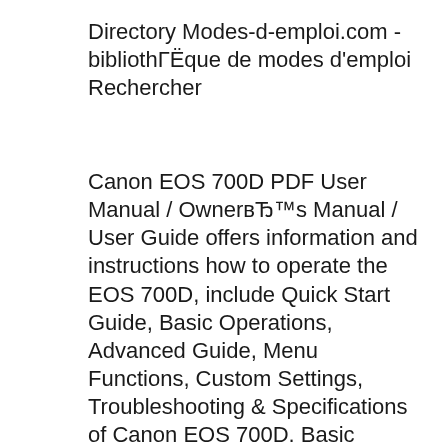Directory Modes-d-emploi.com - bibliothГЁque de modes d'emploi Rechercher
Canon EOS 700D PDF User Manual / OwnerвЂ™s Manual / User Guide offers information and instructions how to operate the EOS 700D, include Quick Start Guide, Basic Operations, Advanced Guide, Menu Functions, Custom Settings, Troubleshooting & Specifications of Canon EOS 700D. Basic Instruction Manual EOS 70D (W) INSTRUCTION MANUAL . 2 This cameraвЂ™s wireless LAN functions let you perform a range of tasks wirelessly, from sending images to Web services and other cameras to controlling the